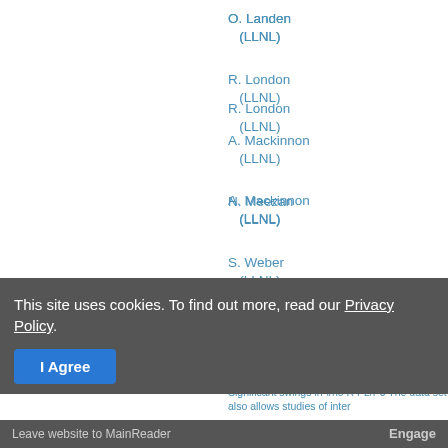O. Landen (LLNL)
R. London (LLNL)
A. Mackinnon (LLNL)
N. Meezan (LLNL)
S. Weber (LLNL)
J. DELETTREZ, V. GLEBOV, P. RADHA, KILKENNY, A. NIKROO, GA -- The Wednesday National Ignition Campaign (NIC) diagnostic spectrum of protons from D-^{3}He reactions, plasma stopping power. Data from WRF burn. Significant swings in \rho R P2/P0. The data set also allows studies of inter...
To cite this abstract, use the following reference...
This site uses cookies. To find out more, read our Privacy Policy.
Leave website to MainReader   Engage